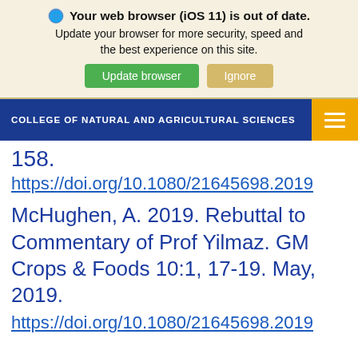[Figure (screenshot): Browser update notification banner with warning icon, bold text 'Your web browser (iOS 11) is out of date.', description text, and two buttons: 'Update browser' (green) and 'Ignore' (tan/gold)]
COLLEGE OF NATURAL AND AGRICULTURAL SCIENCES
158.
https://doi.org/10.1080/21645698.2019
McHughen, A. 2019. Rebuttal to Commentary of Prof Yilmaz. GM Crops & Foods 10:1, 17-19. May, 2019.
https://doi.org/10.1080/21645698.2019